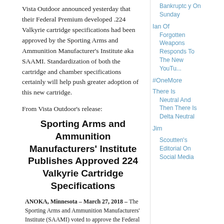Vista Outdoor announced yesterday that their Federal Premium developed .224 Valkyrie cartridge specifications had been approved by the Sporting Arms and Ammunition Manufacturer's Institute aka SAAMI. Standardization of both the cartridge and chamber specifications certainly will help push greater adoption of this new cartridge.
From Vista Outdoor's release:
Sporting Arms and Ammunition Manufacturers' Institute Publishes Approved 224 Valkyrie Cartridge Specifications
ANOKA, Minnesota – March 27, 2018 – The Sporting Arms and Ammunition Manufacturers' Institute (SAAMI) voted to approve the Federal Premium 224 Valkyrie as an official new cartridge during their committee meeting at the 2018 SHOT
Bankruptc y On Sunday
Ian Of Forgotten Weapons Responds To The New YouTu...
#OneMore
There Is Neutral And Then There Is Delta Neutral
Jim
Scoutten's Editorial On Social Media